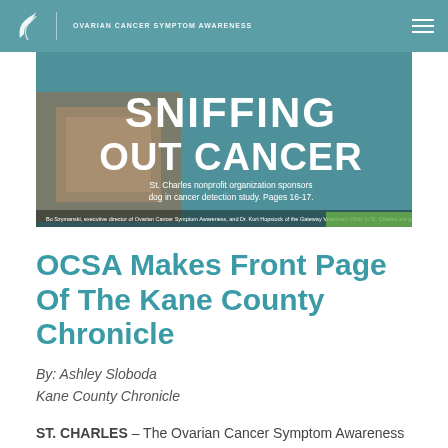OVARIAN CANCER SYMPTOM AWARENESS
[Figure (photo): Newspaper front page showing headline 'SNIFFING OUT CANCER' with subtitle 'St. Charles nonprofit organization sponsors dog in cancer detection study. Pages 16-17.' A cardboard box is visible on the left side. Caption at bottom reads: 'Bo Szymanski, executive director of Ovarian Cancer Symptom Awareness, and Dr. Kurt Hopstock of the Gateway Veterinary Clinic in St. Charles are pictured. The clinic is the first member of OCSA's programs.']
OCSA Makes Front Page Of The Kane County Chronicle
By: Ashley Sloboda
Kane County Chronicle
ST. CHARLES –  The Ovarian Cancer Symptom Awareness Organization as gotten a puppy –